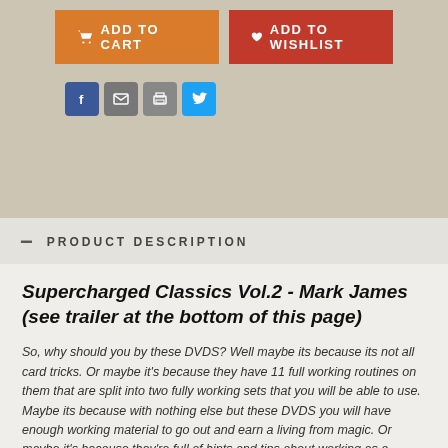[Figure (other): Add to Cart and Add to Wishlist buttons]
[Figure (other): Social share icons: Facebook, Email, Print, Twitter]
PRODUCT DESCRIPTION
Supercharged Classics Vol.2 - Mark James (see trailer at the bottom of this page)
So, why should you by these DVDS? Well maybe its because its not all card tricks. Or maybe it's because they have 11 full working routines on them that are split into two fully working sets that you will be able to use. Maybe its because with nothing else but these DVDS you will have enough working material to go out and earn a living from magic. Or maybe it's because they're full of hints and tips about working as a magician